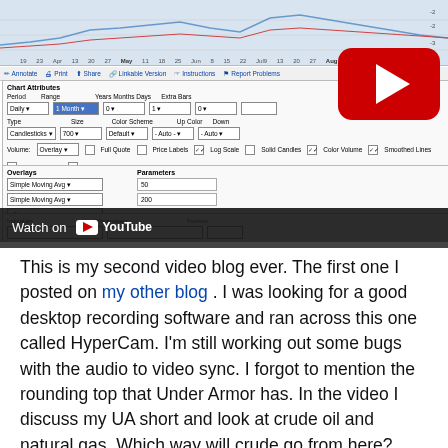[Figure (screenshot): Screenshot of a stock charting application (StockCharts.com) showing a candlestick chart with moving average overlays for the period Apr through Sep, along with chart attribute controls including Period, Range, Type, Size, Color Scheme, Volume, and Overlays panels. A YouTube play button overlay is visible on the chart.]
This is my second video blog ever. The first one I posted on my other blog . I was looking for a good desktop recording software and ran across this one called HyperCam. I'm still working out some bugs with the audio to video sync. I forgot to mention the rounding top that Under Armor has. In the video I discuss my UA short and look at crude oil and natural gas. Which way will crude go from here? Watch and find out.